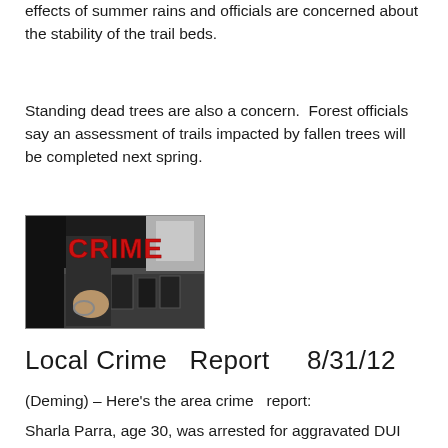effects of summer rains and officials are concerned about the stability of the trail beds.
Standing dead trees are also a concern.  Forest officials say an assessment of trails impacted by fallen trees will be completed next spring.
[Figure (photo): A photo showing a law enforcement officer's torso with equipment, overlaid with bold red text reading 'CRIME']
Local Crime  Report    8/31/12
(Deming) – Here's the area crime  report:
Sharla Parra, age 30, was arrested for aggravated DUI and no driver's